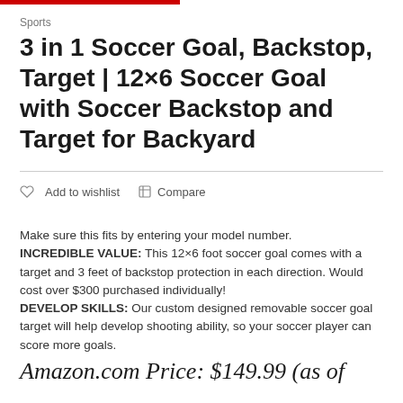Sports
3 in 1 Soccer Goal, Backstop, Target | 12×6 Soccer Goal with Soccer Backstop and Target for Backyard
Add to wishlist   Compare
Make sure this fits by entering your model number. INCREDIBLE VALUE: This 12×6 foot soccer goal comes with a target and 3 feet of backstop protection in each direction. Would cost over $300 purchased individually! DEVELOP SKILLS: Our custom designed removable soccer goal target will help develop shooting ability, so your soccer player can score more goals.
Amazon.com Price: $149.99 (as of